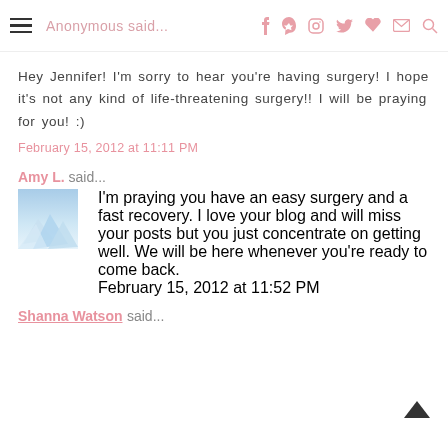Anonymous said...
Hey Jennifer! I'm sorry to hear you're having surgery! I hope it's not any kind of life-threatening surgery!! I will be praying for you! :)
February 15, 2012 at 11:11 PM
Amy L. said...
I'm praying you have an easy surgery and a fast recovery. I love your blog and will miss your posts but you just concentrate on getting well. We will be here whenever you're ready to come back.
February 15, 2012 at 11:52 PM
Shanna Watson said...